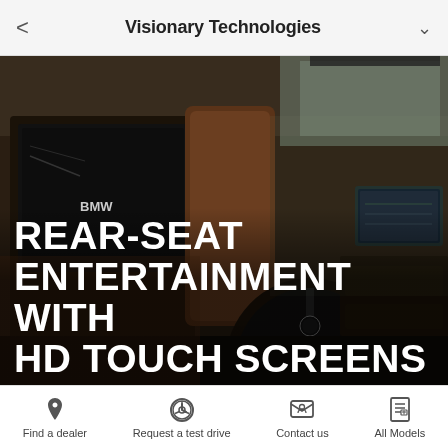Visionary Technologies
[Figure (photo): BMW car interior showing rear-seat entertainment screens mounted on headrests, steering wheel, dashboard with navigation screen, in a dark luxurious interior with brown leather seats]
REAR-SEAT ENTERTAINMENT WITH HD TOUCH SCREENS
Find a dealer | Request a test drive | Contact us | All Models